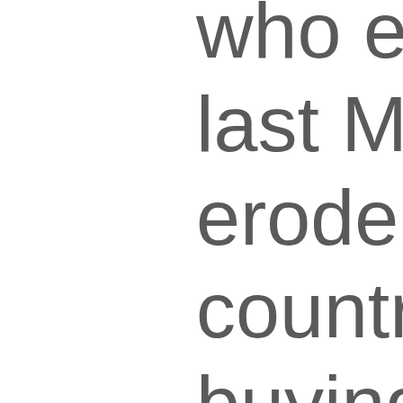who engaged last May 9 are erode and dest country. Those buying and wh tagging to insti those who deli violence.